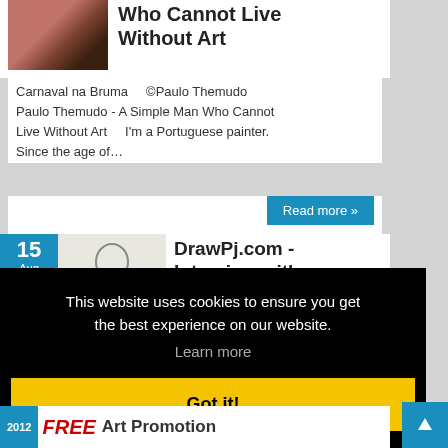Who Cannot Live Without Art
Carnaval na Bruma    ©Paulo Themudo Paulo Themudo - A Simple Man Who Cannot Live Without Art     I'm a Portuguese painter. Since the age of…
Read more »
15 Aug 2012
DrawPj.com - Interview with Course Founder
This website uses cookies to ensure you get the best experience on our website.
Learn more
Got it!
FREE   Art Promotion